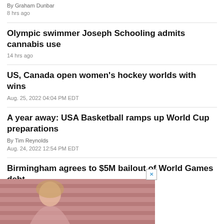By Graham Dunbar
8 hrs ago
Olympic swimmer Joseph Schooling admits cannabis use
14 hrs ago
US, Canada open women's hockey worlds with wins
Aug. 25, 2022 04:04 PM EDT
A year away: USA Basketball ramps up World Cup preparations
By Tim Reynolds
Aug. 24, 2022 12:54 PM EDT
Birmingham agrees to $5M bailout of World Games debt
Aug. 24, 2022 09:42 AM EDT
[Figure (photo): Advertisement banner showing a woman with highlighted hair against a red/pink wooden background]